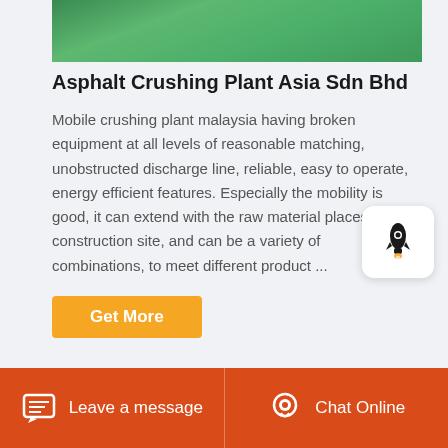[Figure (photo): Green industrial equipment photo (top portion visible)]
Asphalt Crushing Plant Asia Sdn Bhd
Mobile crushing plant malaysia having broken equipment at all levels of reasonable matching, unobstructed discharge line, reliable, easy to operate, energy efficient features. Especially the mobility is good, it can extend with the raw material places or the construction site, and can be a variety of combinations, to meet different product ...
Get More
Leave a message   Chat Online